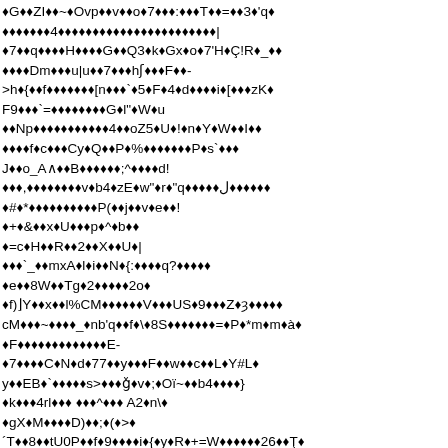◆G◆◆ZI◆◆~◆Ovp◆◆v◆◆o◆7◆◆◆:◆◆◆T◆◆=◆◆3◆'q◆◆◆◆◆◆◆◆◆4◆◆◆◆◆◆◆◆◆◆◆◆◆◆◆◆◆◆◆◆◆◆|
◆7◆◆q◆◆◆◆H◆◆◆◆G◆◆Q3◆k◆Gx◆o◆7'H◆Ç!R◆_◆◆
◆◆◆◆Dm◆◆◆u|u◆◆7◆◆◆h◆ʒ◆◆◆F◆◆-
>h◆{◆◆f◆◆◆◆◆◆◆[n◆◆◆`◆5◆F◆4◆d◆◆◆◆i◆[◆◆◆zK◆
F9◆◆◆`=◆◆◆◆◆◆◆◆G◆l"◆W◆u
◆◆Np◆◆◆◆◆◆◆◆◆◆◆4◆◆oZ5◆U◆!◆n◆Y◆W◆◆I◆◆
◆◆◆◆f◆c◆◆◆Cy◆Q◆◆P◆%◆◆◆◆◆◆◆P◆s`◆◆◆
J◆◆o_A∧◆◆B◆◆◆◆◆◆;^◆◆◆◆d!
◆◆◆,◆◆◆◆◆◆◆◆v◆b4◆zE◆w"◆r◆"q◆◆◆◆◆ﻼ◆◆◆◆◆◆
◆#◆*◆◆◆◆◆◆◆◆◆◆P(◆◆j◆◆v◆e◆◆!
◆+◆&◆◆x◆U◆◆◆p◆^◆b◆◆
◆=c◆H◆◆R◆◆2◆◆X◆◆U◆|
◆◆◆`_◆◆mxA◆l◆i◆◆N◆{:◆◆◆◆q?◆◆◆◆◆
◆e◆◆8W◆◆Tg◆2◆◆◆◆◆2o◆
◆f)⌋Y◆◆x◆◆l%CM◆◆◆◆◆◆V◆◆◆US◆9◆◆◆Z◆ŕ◆◆◆◆◆
cM◆◆◆~◆◆◆◆_◆nb'q◆◆f◆\◆8S◆◆◆◆◆◆◆=◆P◆*m◆m◆à◆
◆F◆◆◆◆◆◆◆◆◆◆◆◆◆E-
◆7◆◆◆◆C◆N◆d◆77◆◆y◆◆◆F◆◆w◆◆c◆◆L◆Y#L◆
y◆◆EB◆`◆◆◆◆◆s>◆◆◆ģ◆v◆;◆Oï~◆◆b4◆◆◆◆}
◆k◆◆◆4rl◆◆◆ ◆◆◆^◆◆ A2◆n\◆
◆gX◆M◆◆◆◆D)◆◆;◆(◆>◆
´T◆◆8◆◆tU0P◆◆f◆9◆◆◆◆i◆{◆y◆R◆+=W◆◆◆◆◆◆26◆◆Ţ◆